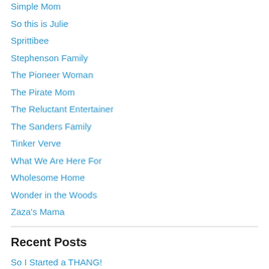Simple Mom
So this is Julie
Sprittibee
Stephenson Family
The Pioneer Woman
The Pirate Mom
The Reluctant Entertainer
The Sanders Family
Tinker Verve
What We Are Here For
Wholesome Home
Wonder in the Woods
Zaza's Mama
Recent Posts
So I Started a THANG!
Idioms…. why, oh why???
I AM STILL ALIVE!
Blog Posts...